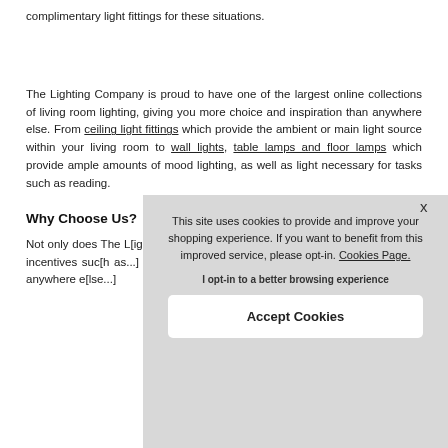complimentary light fittings for these situations.
The Lighting Company is proud to have one of the largest online collections of living room lighting, giving you more choice and inspiration than anywhere else. From ceiling light fittings which provide the ambient or main light source within your living room to wall lights, table lamps and floor lamps which provide ample amounts of mood lighting, as well as light necessary for tasks such as reading.
Why Choose Us?
Not only does The [Lighting Company have] the most unique collect[ions...] other incentives suc[h as...] products, free UK [...] quibble returns for [...] to shop anywhere e[lse...]
This site uses cookies to provide and improve your shopping experience. If you want to benefit from this improved service, please opt-in. Cookies Page.
I opt-in to a better browsing experience
Accept Cookies